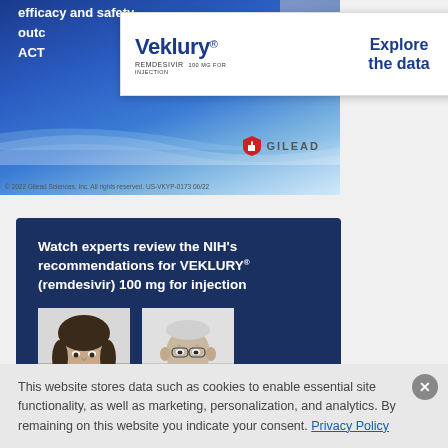[Figure (screenshot): Veklury remdesivir advertisement banner with 'Explore the data' call-to-action and circular arrow button, overlaid on a blue gradient background with partial text 'efficacy and safety outc... ACT...' visible. Gilead logo and copyright notice at bottom.]
[Figure (screenshot): Dark navy blue advertisement panel reading 'Watch experts review the NIH's recommendations for VEKLURY® (remdesivir) 100 mg for injection' with two black-and-white expert headshots below — a woman on the left and an older man on the right.]
This website stores data such as cookies to enable essential site functionality, as well as marketing, personalization, and analytics. By remaining on this website you indicate your consent. Privacy Policy